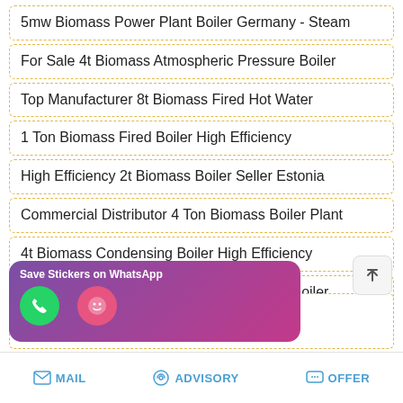5mw Biomass Power Plant Boiler Germany - Steam
For Sale 4t Biomass Atmospheric Pressure Boiler
Top Manufacturer 8t Biomass Fired Hot Water
1 Ton Biomass Fired Boiler High Efficiency
High Efficiency 2t Biomass Boiler Seller Estonia
Commercial Distributor 4 Ton Biomass Boiler Plant
4t Biomass Condensing Boiler High Efficiency
Textiles Plant Boiler In Ecuador - Biomass Boiler
ng Boiler Manufacturers
[Figure (screenshot): WhatsApp sticker save overlay with purple-to-pink gradient background showing 'Save Stickers on WhatsApp' label and two circular icons (green phone icon and pink emoji icon)]
MAIL   ADVISORY   OFFER